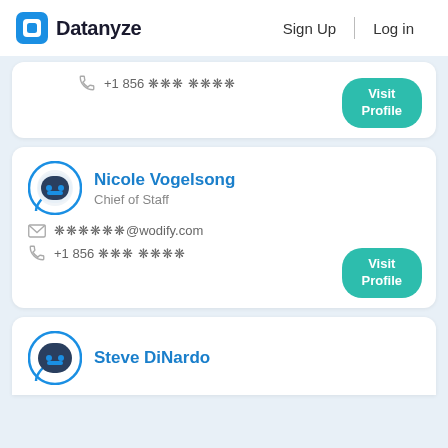Datanyze  Sign Up  Log in
+1 856 *** ****
Visit Profile
Nicole Vogelsong — Chief of Staff
****** @wodify.com
+1 856 *** ****
Visit Profile
Steve DiNardo